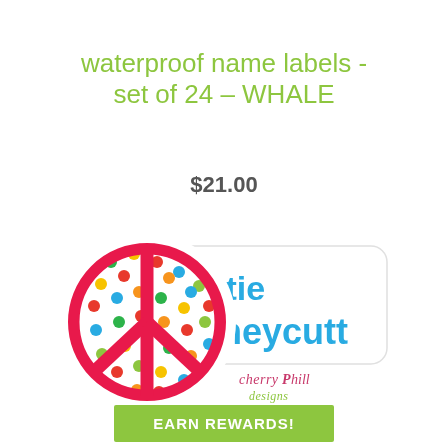waterproof name labels - set of 24 - WHALE
$21.00
[Figure (illustration): A product label illustration showing a colorful polka-dot peace sign circle sticker overlapping a white rounded-rectangle name label with the text 'Katie Honeycutt' in blue, and a 'cherryPhill designs' watermark. A green 'EARN REWARDS!' banner is at the bottom.]